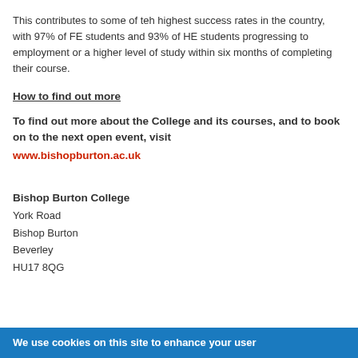This contributes to some of teh highest success rates in the country, with 97% of FE students and 93% of HE students progressing to employment or a higher level of study within six months of completing their course.
How to find out more
To find out more about the College and its courses, and to book on to the next open event, visit www.bishopburton.ac.uk
Bishop Burton College
York Road
Bishop Burton
Beverley
HU17 8QG
We use cookies on this site to enhance your user